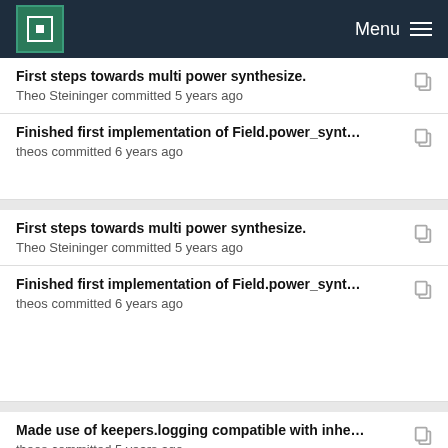MPCDF  Menu
First steps towards multi power synthesize.
Theo Steininger committed 5 years ago
Finished first implementation of Field.power_synt…
theos committed 6 years ago
First steps towards multi power synthesize.
Theo Steininger committed 5 years ago
Finished first implementation of Field.power_synt…
theos committed 6 years ago
Made use of keepers.logging compatible with inhe…
theos committed 5 years ago